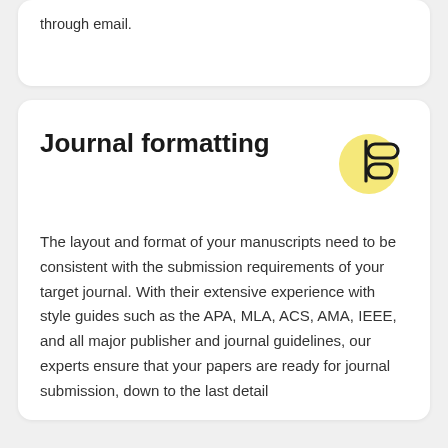through email.
Journal formatting
[Figure (illustration): Yellow circle icon with two rounded rectangle pill shapes aligned to the left, resembling a formatting/alignment icon]
The layout and format of your manuscripts need to be consistent with the submission requirements of your target journal. With their extensive experience with style guides such as the APA, MLA, ACS, AMA, IEEE, and all major publisher and journal guidelines, our experts ensure that your papers are ready for journal submission, down to the last detail